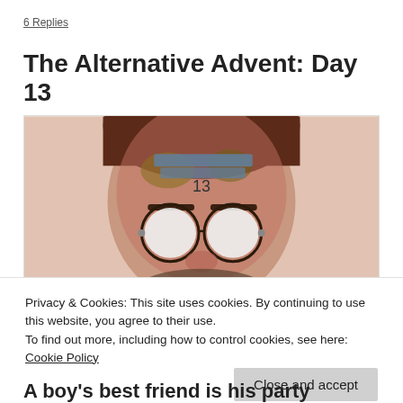6 Replies
The Alternative Advent: Day 13
[Figure (photo): Close-up photo of a person's face with round reflective glasses, text/label on forehead reading 'ALTERNATIVE ADVENT ADVENT' and number '13', with reddish-toned artistic treatment]
Privacy & Cookies: This site uses cookies. By continuing to use this website, you agree to their use.
To find out more, including how to control cookies, see here: Cookie Policy
A boy's best friend is his party